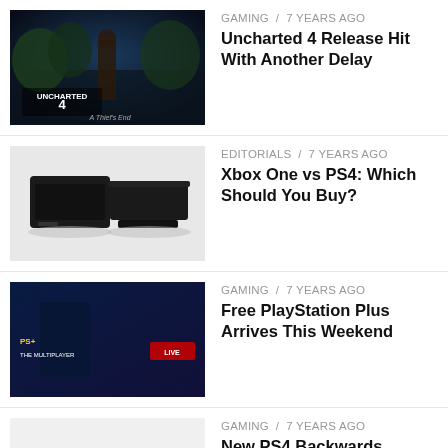GAMING / 7 years ago — Uncharted 4 Release Hit With Another Delay
EDITORIALS / 7 years ago — Xbox One vs PS4: Which Should You Buy?
GAMING / 7 years ago — Free PlayStation Plus Arrives This Weekend
GAMING / 7 years ago — New PS4 Backwards Compatibility Release Details Arrive
GAMING / 7 years ago — Sony Offers Best PlayStation Now Deal Ever For PS4 & More
GAMING / 7 years ago — How to Watch PlayStation Experience
DEALS / 7 years ago — Huge PS4 Price Cut is Back for Two Weeks